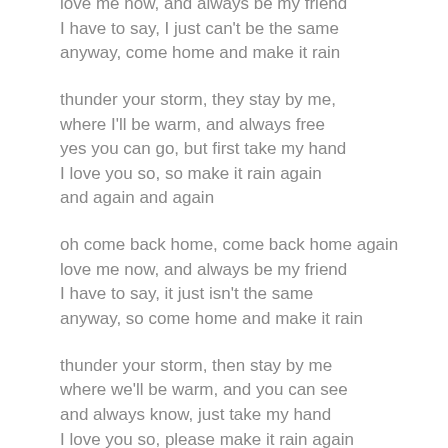love me now, and always be my friend
I have to say, I just can't be the same
anyway, come home and make it rain
thunder your storm, they stay by me,
where I'll be warm, and always free
yes you can go, but first take my hand
I love you so, so make it rain again
and again and again
oh come back home, come back home again
love me now, and always be my friend
I have to say, it just isn't the same
anyway, so come home and make it rain
thunder your storm, then stay by me
where we'll be warm, and you can see
and always know, just take my hand
I love you so, please make it rain again
and again and again
(fading)
and again
..............................